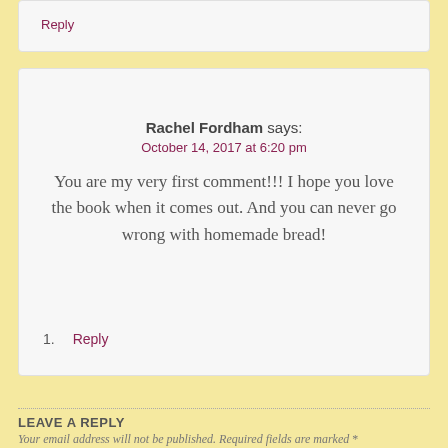Reply
Rachel Fordham says:
October 14, 2017 at 6:20 pm
You are my very first comment!!! I hope you love the book when it comes out. And you can never go wrong with homemade bread!
1. Reply
LEAVE A REPLY
Your email address will not be published. Required fields are marked *